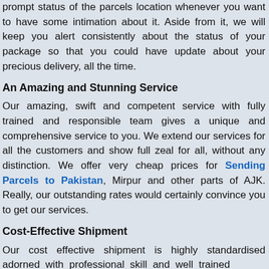prompt status of the parcels location whenever you want to have some intimation about it. Aside from it, we will keep you alert consistently about the status of your package so that you could have update about your precious delivery, all the time.
An Amazing and Stunning Service
Our amazing, swift and competent service with fully trained and responsible team gives a unique and comprehensive service to you. We extend our services for all the customers and show full zeal for all, without any distinction. We offer very cheap prices for Sending Parcels to Pakistan, Mirpur and other parts of AJK. Really, our outstanding rates would certainly convince you to get our services.
Cost-Effective Shipment
Our cost effective shipment is highly standardised adorned with professional skill and well trained...